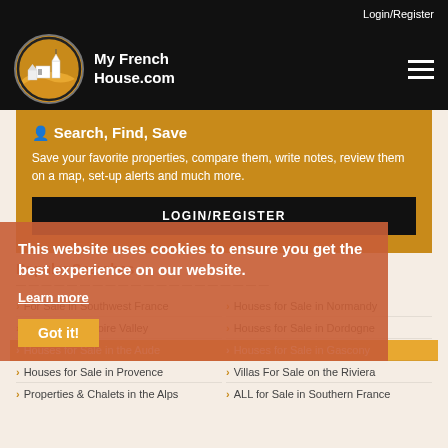Login/Register
[Figure (logo): My French House.com logo with circular emblem showing a French house illustration on golden background]
Search, Find, Save
Save your favorite properties, compare them, write notes, review them on a map, set-up alerts and much more.
LOGIN/REGISTER
This website uses cookies to ensure you get the best experience on our website.
Learn more
Got it!
Popular Searches
For Sale in Southwest France
Houses for Sale in Normandy
Homes in the Loire Valley
Houses for Sale in Dordogne
Houses for Sale in the Aude
Houses for Sale in Gascony
Houses for Sale in Provence
Villas For Sale on the Riviera
Properties & Chalets in the Alps
ALL for Sale in Southern France